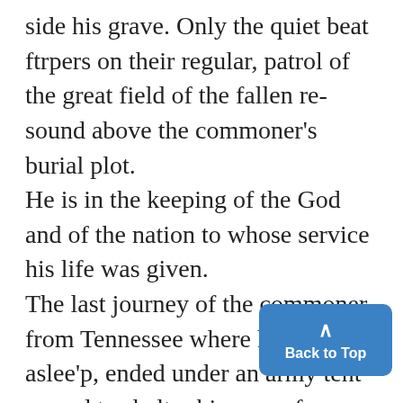side his grave. Only the quiet beat ftrpers on their regular, patrol of the great field of the fallen re-sound above the commoner's burial plot. He is in the keeping of the God and of the nation to whose service his life was given. The last journey of the commoner from Tennessee where he fell aslee'p, ended under an army tent spread to shelter his grave from the drivi rain that had fallen since morn to cease only a moment before the